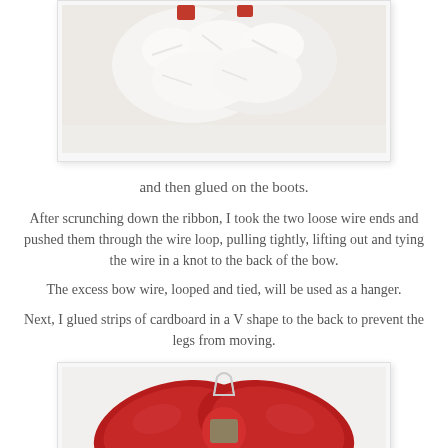[Figure (photo): White fluffy boots/fabric with red accents, viewed from above against white background]
and then glued on the boots.
After scrunching down the ribbon, I took the two loose wire ends and pushed them through the wire loop, pulling tightly, lifting out and tying the wire in a knot to the back of the bow.
The excess bow wire, looped and tied, will be used as a hanger.
Next, I glued strips of cardboard in a V shape to the back to prevent the legs from moving.
[Figure (photo): A large red bow with a wire hanger loop at the top, viewed from the back/front showing cardboard V-shape support]